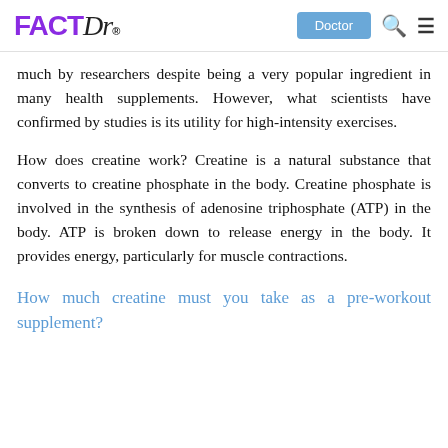FACTDr — Doctor (navigation bar)
much by researchers despite being a very popular ingredient in many health supplements. However, what scientists have confirmed by studies is its utility for high-intensity exercises.
How does creatine work? Creatine is a natural substance that converts to creatine phosphate in the body. Creatine phosphate is involved in the synthesis of adenosine triphosphate (ATP) in the body. ATP is broken down to release energy in the body. It provides energy, particularly for muscle contractions.
How much creatine must you take as a pre-workout supplement?